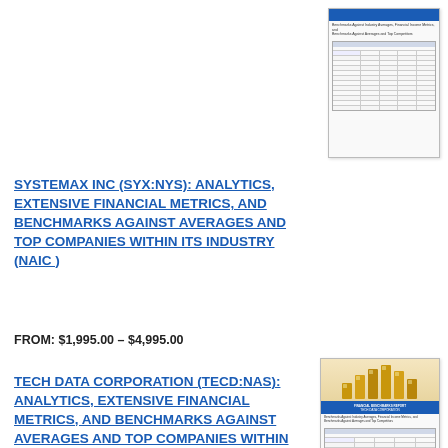[Figure (screenshot): Thumbnail image of a financial report document for Systemax Inc, showing a table-heavy document page with blue header bar and data rows.]
SYSTEMAX INC (SYX:NYS): ANALYTICS, EXTENSIVE FINANCIAL METRICS, AND BENCHMARKS AGAINST AVERAGES AND TOP COMPANIES WITHIN ITS INDUSTRY (NAIC)
FROM: $1,995.00 – $4,995.00
[Figure (screenshot): Thumbnail image of a financial benchmarks report with a gold bar chart graphic at the top, followed by a blue title block and data table rows below.]
TECH DATA CORPORATION (TECD:NAS): ANALYTICS, EXTENSIVE FINANCIAL METRICS, AND BENCHMARKS AGAINST AVERAGES AND TOP COMPANIES WITHIN ITS INDUSTRY